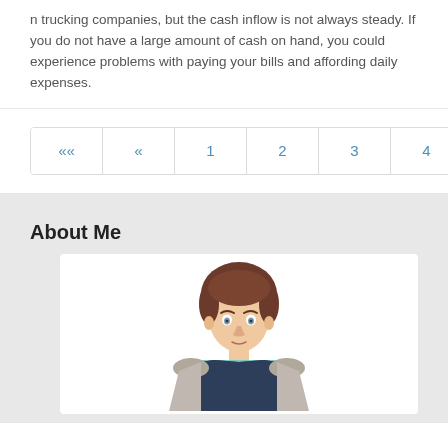n trucking companies, but the cash inflow is not always steady. If you do not have a large amount of cash on hand, you could experience problems with paying your bills and affording daily expenses.
«« « 1 2 3 4 5 6 7 » »»
About Me
[Figure (illustration): Illustration of a professional man in a suit with light blue shirt and brown tie, flat vector style avatar]